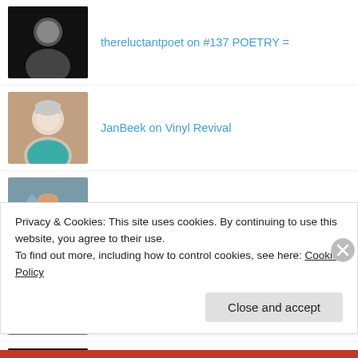thereluctantpoet on #137 POETRY =
JanBeek on Vinyl Revival
Cindy Georgakas on #137 POETRY =
Cindy Georgakas on #136 POETRY =
thereluctantpoet on #136 POETRY =
thereluctantpoet on #136 POETRY =
Privacy & Cookies: This site uses cookies. By continuing to use this website, you agree to their use.
To find out more, including how to control cookies, see here: Cookie Policy
Close and accept